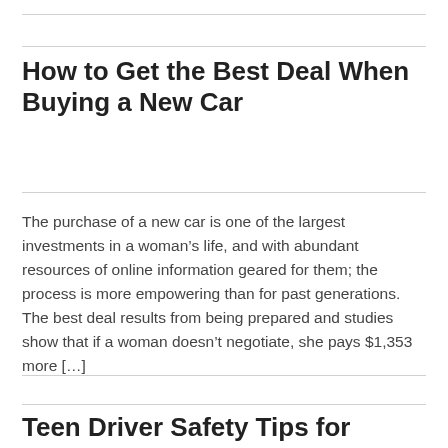How to Get the Best Deal When Buying a New Car
The purchase of a new car is one of the largest investments in a woman’s life, and with abundant resources of online information geared for them; the process is more empowering than for past generations. The best deal results from being prepared and studies show that if a woman doesn’t negotiate, she pays $1,353 more […]
Teen Driver Safety Tips for Every